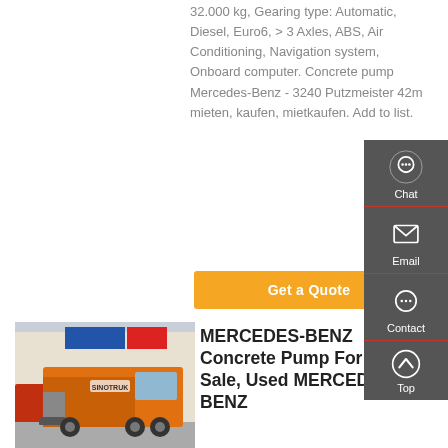32.000 kg, Gearing type: Automatic, Diesel, Euro6, > 3 Axles, ABS, Air Conditioning, Navigation system, Onboard computer. Concrete pump Mercedes-Benz - 3240 Putzmeister 42m mieten, kaufen, mietkaufen. Add to list.
[Figure (screenshot): Orange sidebar widget with Chat, Email, Contact icons and Back to Top arrow button, dark grey background]
[Figure (photo): Orange SINOTRUK heavy truck parked in front of a dealership with red and blue signage]
MERCEDES-BENZ Concrete Pump For Sale, Used MERCEDES-BENZ